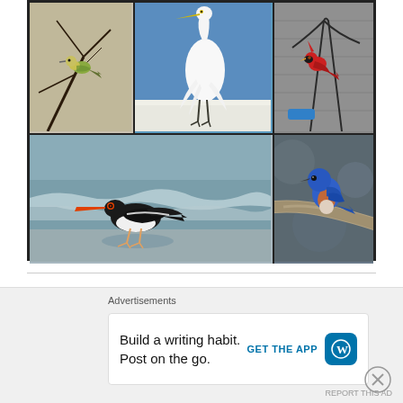[Figure (photo): Photo collage of birds: top-left shows a small yellow-green bird on a branch, top-middle shows a white egret standing on a surface with blue sky background, top-right shows a red cardinal near a bird feeder, bottom-left shows an American oystercatcher bird wading in ocean surf, bottom-right shows a vivid blue Eastern bluebird perched on a branch.]
Recent Posts
Advertisements
Build a writing habit. Post on the go.
GET THE APP